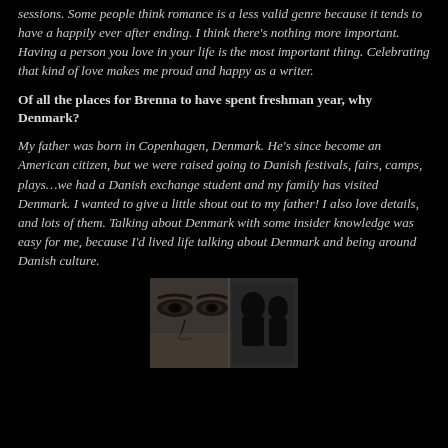sessions. Some people think romance is a less valid genre because it tends to have a happily ever after ending. I think there's nothing more important. Having a person you love in your life is the most important thing. Celebrating that kind of love makes me proud and happy as a writer.
Of all the places for Brenna to have spent freshman year, why Denmark?
My father was born in Copenhagen, Denmark. He’s since become an American citizen, but we were raised going to Danish festivals, fairs, camps, plays…we had a Danish exchange student and my family has visited Denmark. I wanted to give a little shout out to my father! I also love details, and lots of them. Talking about Denmark with some insider knowledge was easy for me, because I’d lived life talking about Denmark and being around Danish culture.
[Figure (photo): Black and white photo showing a close-up of a person's face focusing on eyes, with a smaller secondary image beside it]